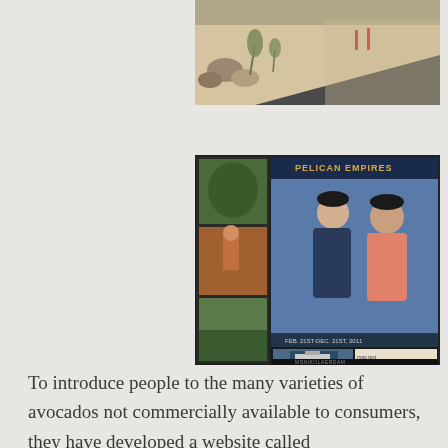[Figure (photo): Outdoor landscape photo showing a driveway with rocks, desert plants, and a building in the background. Warm, faded tones.]
[Figure (photo): Collage/scrapbook photo showing two people posing together on what appears to be a cruise ship event (PELICAN EMPIRES), with smaller inset photos of activities and a cruise ship. Text reads 'PELICAN EMPIRES' and 'MSNIKOLAERDAM'.]
To introduce people to the many varieties of avocados not commercially available to consumers, they have developed a website called